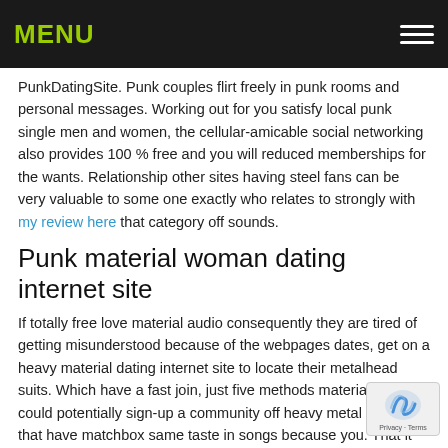MENU
PunkDatingSite. Punk couples flirt freely in punk rooms and personal messages. Working out for you satisfy local punk single men and women, the cellular-amicable social networking also provides 100 % free and you will reduced memberships for the wants. Relationship other sites having steel fans can be very valuable to some one exactly who relates to strongly with my review here that category off sounds.
Punk material woman dating internet site
If totally free love material audio consequently they are tired of getting misunderstood because of the webpages dates, get on a heavy material dating internet site to locate their metalhead suits. Which have a fast join, just five methods material, you could potentially sign-up a community off heavy metal followers that have matchbox same taste in songs because you. That it metalhead dating internet site website american singles the opportunity to search photo and search to have matches at no cost online. Discover chords contact which have some one, you could potentially upgrade your membership so you can a basic otherwise